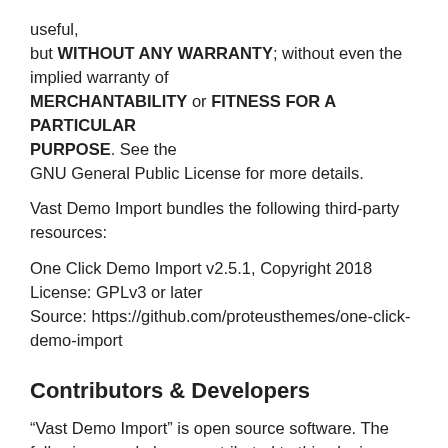useful,
but WITHOUT ANY WARRANTY; without even the implied warranty of
MERCHANTABILITY or FITNESS FOR A PARTICULAR PURPOSE. See the
GNU General Public License for more details.
Vast Demo Import bundles the following third-party resources:
One Click Demo Import v2.5.1, Copyright 2018
License: GPLv3 or later
Source: https://github.com/proteusthemes/one-click-demo-import
Contributors & Developers
“Vast Demo Import” is open source software. The following people have contributed to this plugin.